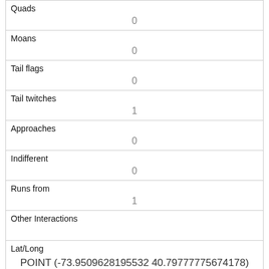| Quads | 0 |
| Moans | 0 |
| Tail flags | 0 |
| Tail twitches | 1 |
| Approaches | 0 |
| Indifferent | 0 |
| Runs from | 1 |
| Other Interactions |  |
| Lat/Long | POINT (-73.9509628195532 40.79777756741 78) |
| Link | 200 |